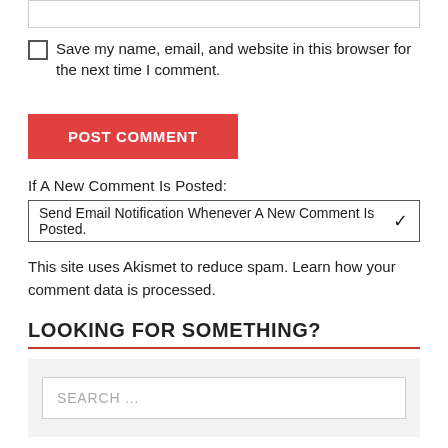[Figure (screenshot): A text input box (form field) at the top of the page]
Save my name, email, and website in this browser for the next time I comment.
POST COMMENT
If A New Comment Is Posted:
Send Email Notification Whenever A New Comment Is Posted.
This site uses Akismet to reduce spam. Learn how your comment data is processed.
LOOKING FOR SOMETHING?
[Figure (screenshot): Search input box with placeholder text 'SEARCH ...' on gray background]
RECENT POSTS